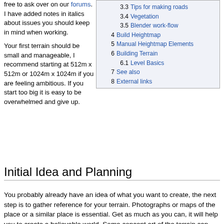free to ask over on our forums. I have added notes in italics about issues you should keep in mind when working.
Your first terrain should be small and manageable, I recommend starting at 512m x 512m or 1024m x 1024m if you are feeling ambitious. If you start too big it is easy to be overwhelmed and give up.
| 3.3 | Tips for making roads |
| 3.4 | Vegetation |
| 3.5 | Blender work-flow |
| 4 | Build Heightmap |
| 5 | Manual Heightmap Elements |
| 6 | Building Terrain |
| 6.1 | Level Basics |
| 7 | See also |
| 8 | External links |
Initial Idea and Planning
You probably already have an idea of what you want to create, the next step is to gather reference for your terrain. Photographs or maps of the place or a similar place is essential. Get as much as you can, it will help you to create a believable world. Some concept art of the terrain can help you to understand what